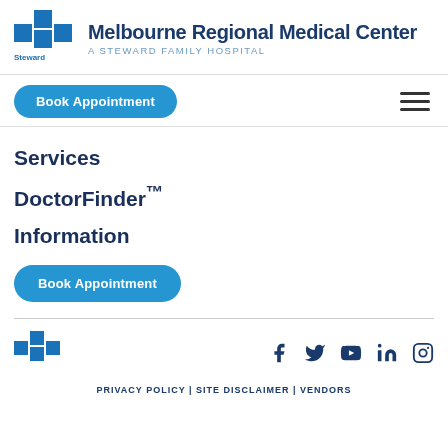[Figure (logo): Steward Health Care logo with blue square grid icon and 'Steward' text, alongside Melbourne Regional Medical Center name and 'A Steward Family Hospital' subtitle]
Book Appointment
Services
DoctorFinder™
Information
Book Appointment
[Figure (logo): Steward Health Care small blue square grid logo in footer]
f  Twitter  YouTube  in  Instagram social icons
PRIVACY POLICY | SITE DISCLAIMER | VENDORS